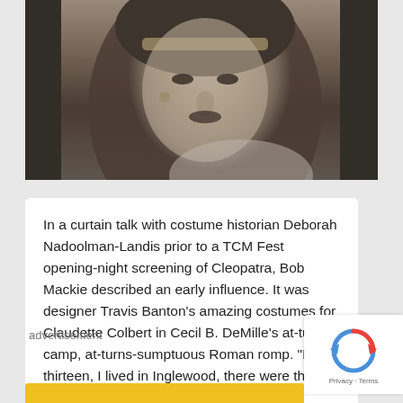[Figure (photo): Black and white photo of a woman wearing a decorative headband/headdress, styled in a vintage Hollywood glamour look]
In a curtain talk with costume historian Deborah Nadoolman-Landis prior to a TCM Fest opening-night screening of Cleopatra, Bob Mackie described an early influence. It was designer Travis Banton's amazing costumes for Claudette Colbert in Cecil B. DeMille's at-turns-camp, at-turns-sumptuous Roman romp. “I was thirteen, I lived in Inglewood, there were three movie theaters there. An ...
read the full story
advertisement